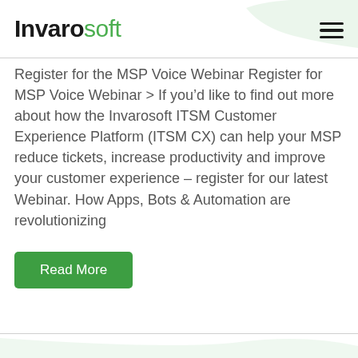Invarosoft
Register for the MSP Voice Webinar Register for MSP Voice Webinar > If you’d like to find out more about how the Invarosoft ITSM Customer Experience Platform (ITSM CX) can help your MSP reduce tickets, increase productivity and improve your customer experience – register for our latest Webinar. How Apps, Bots & Automation are revolutionizing
Read More